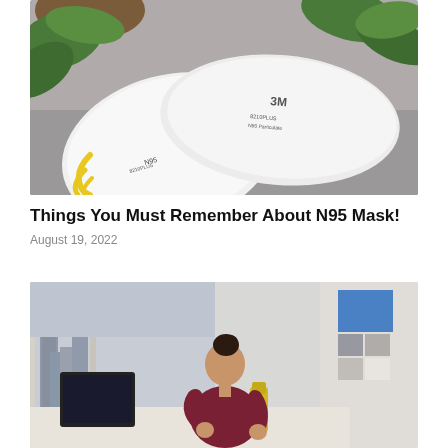[Figure (photo): Two white 3M N95 respirator masks with yellow straps lying on a surface, with green plant leaves in the background.]
Things You Must Remember About N95 Mask!
August 19, 2022
[Figure (photo): A woman in a maroon shirt cleaning a desk with a spray bottle in a high-rise office with a city skyline visible through the windows. A colorful artwork is partially visible on the right.]